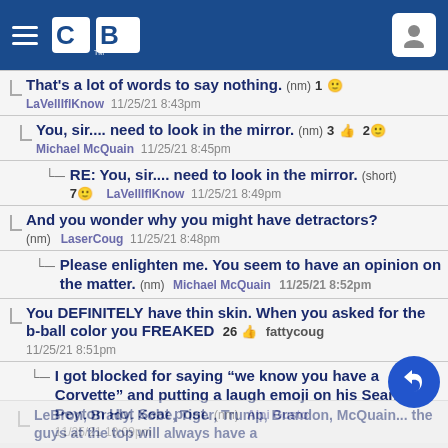[Figure (screenshot): CoverBlogger (CB) website header with hamburger menu, CB logo, and user icon on blue background]
That's a lot of words to say nothing. (nm) 1
LaVellIflKnow  11/25/21 8:43pm
You, sir.... need to look in the mirror. (nm) 3 2
Michael McQuain  11/25/21 8:45pm
RE: You, sir.... need to look in the mirror. (short)
7  LaVellIflKnow  11/25/21 8:49pm
And you wonder why you might have detractors?
(nm)  LaserCoug  11/25/21 8:48pm
Please enlighten me. You seem to have an opinion on the matter. (nm)  Michael McQuain  11/25/21 8:52pm
You DEFINITELY have thin skin. When you asked for the b-ball color you FREAKED  26  fattycoug  11/25/21 8:51pm
I got blocked for saying “we know you have a Corvette” and putting a laugh emoji on his Sean Peyton Hot Seat post. (nm)  Alpi Gusto  11/25/21 10:09pm
LeBron, Brady, Kobe, Tiger, Trump, Brandon, McQuain... the guys at the top will always have a